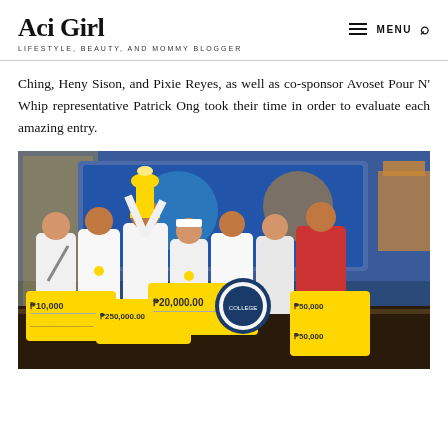Aci Girl — LIFESTYLE, BEAUTY, AND MOMMY BLOGGER
Ching, Heny Sison, and Pixie Reyes, as well as co-sponsor Avoset Pour N' Whip representative Patrick Ong took their time in order to evaluate each amazing entry.
[Figure (photo): Group photo of winners on stage holding large prize checks including amounts of ₱10,000, ₱250,000, ₱20,000, ₱50,000 and more, with trophies raised overhead, at a competition awards ceremony.]